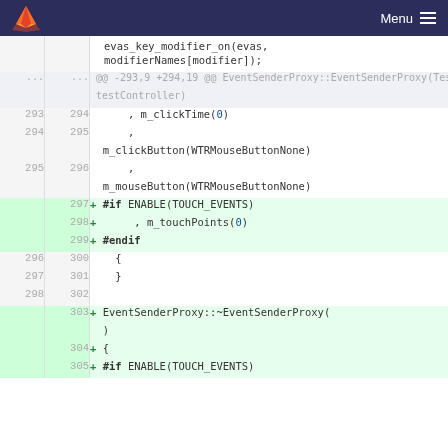GitLab — Menu
[Figure (screenshot): Code diff viewer showing lines 293-305 of a C++ file. Lines 297-299 and 303-305 are newly added (green background) with + prefix. Content includes m_clickTime(0), m_clickButton(WTRMouseButtonNone), m_mouseButton(WTRMouseButtonNone), #if ENABLE(TOUCH_EVENTS), m_touchPoints(0), #endif, braces, and EventSenderProxy::~EventSenderProxy() and #if ENABLE(TOUCH_EVENTS).]